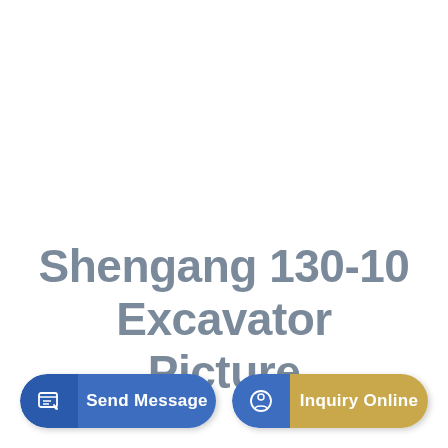Shengang 130-10 Excavator Picture
Send Message
Inquiry Online